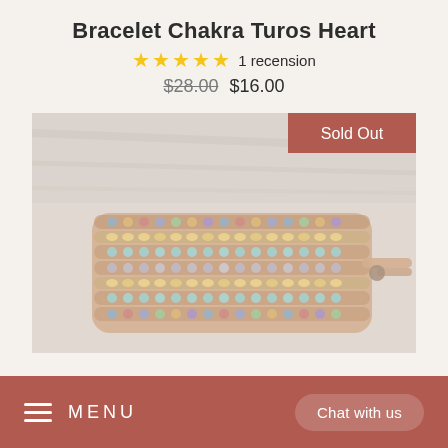Bracelet Chakra Turos Heart
★★★★★ 1 recension
$28.00  $16.00
[Figure (photo): Photo of a colorful beaded wrap bracelet with chakra stones (turquoise, gold, blue, multicolor beads) on a leather cord, displayed on a light wooden surface. A 'Sold Out' badge appears in the top-right corner.]
≡  MENU   Chat with us